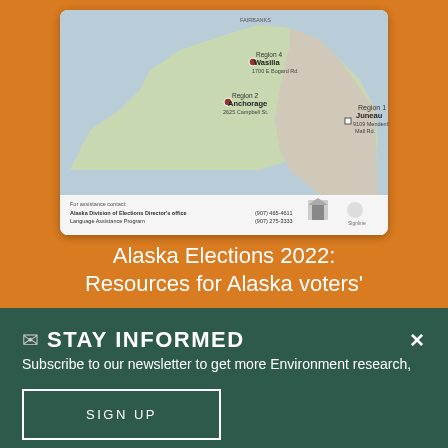[Figure (map): Map of Alaska showing regional election office locations: Region 1 Juneau at 9109 Mendenhall Mall Rd., Region 2 Anchorage at 2625 Campbell St., Region 4 Wasilla at 1700 E Bogard Rd. Footer shows contact info for Alaska Division of Elections Director's office Language Assistance Program: (907) 465-4611, (907) 275-2333]
Alaska Elections 2022: Resources for Alaska voters'
✉ STAY INFORMED
Subscribe to our newsletter to get more Environment research, analysis, and other policy updates delivered to your inbox
SIGN UP